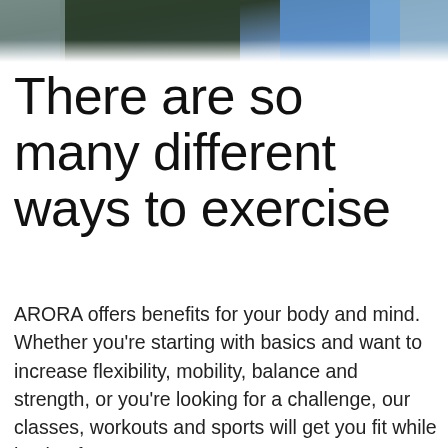[Figure (photo): Cropped photo of people exercising, showing lower body with athletic wear — dark shorts and blue leggings visible at top of page]
There are so many different ways to exercise
ARORA offers benefits for your body and mind. Whether you're starting with basics and want to increase flexibility, mobility, balance and strength, or you're looking for a challenge, our classes, workouts and sports will get you fit while having fun.